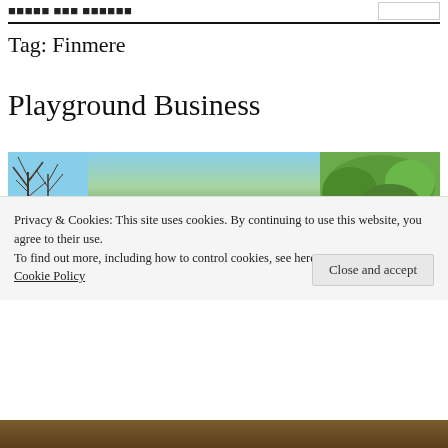Finmere Village Website
Tag: Finmere
Playground Business
[Figure (photo): Outdoor photograph showing bare winter trees against a blue sky with green shrubs in the background]
Privacy & Cookies: This site uses cookies. By continuing to use this website, you agree to their use.
To find out more, including how to control cookies, see here: Cookie Policy
Close and accept
[Figure (photo): Bottom portion of an outdoor photograph showing brown earth or mulch ground cover]